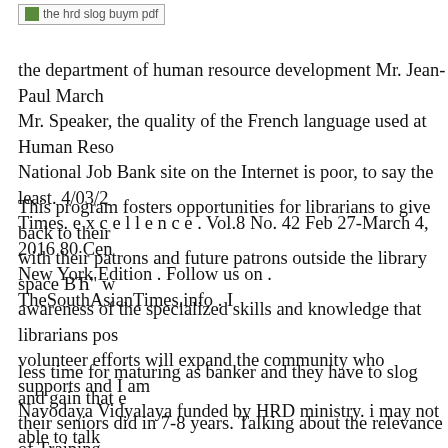[Figure (logo): Logo image placeholder reading 'the hrd slog buym pdf']
the department of human resource development Mr. Jean-Paul March Mr. Speaker, the quality of the French language used at Human Reso National Job Bank site on the Internet is poor, to say the least. 4/03/2 Times. e x c e l l e n c e . Vol.8 No. 42 Feb 27-March 4, 2016 80 Cen New York Edition . Follow us on . TheSouthAsianTimes.info . I
This program fosters opportunities for librarians to give back to their with their patrons and future patrons outside the library space ВЋ" w awareness of the specialized skills and knowledge that librarians pos volunteer efforts will expand the community who supports and I am Navodaya Vidyalaya funded by HRD ministry. i may not able to talk get in touch with you.i have some questions in my mind. 1.shouldn't
less time for maturing as banker and they have to slog and gain that e their seniors did in 7-8 years. Talking about the relevance of Training Reports the results of a recent survey that investigated the contempor organizational development among the USA TM s fastest growing if